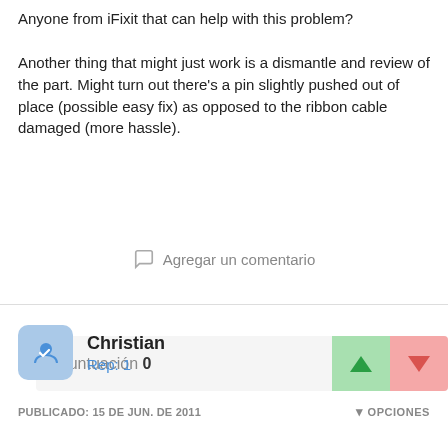Anyone from iFixit that can help with this problem?
Another thing that might just work is a dismantle and review of the part. Might turn out there's a pin slightly pushed out of place (possible easy fix) as opposed to the ribbon cable damaged (more hassle).
Puntuación 0
Agregar un comentario
Christian
Rep: 1
PUBLICADO: 15 DE JUN. DE 2011
OPCIONES